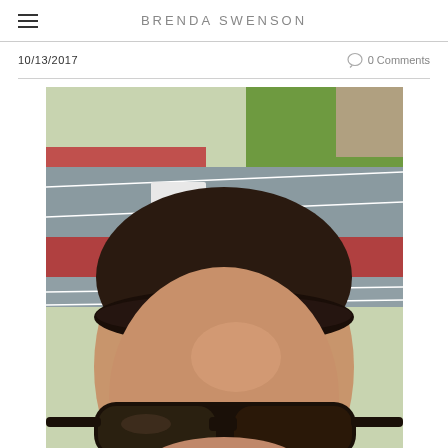BRENDA SWENSON
10/13/2017
0 Comments
[Figure (photo): Selfie of a woman with dark hair wearing a braided headband and dark sport sunglasses, taken outdoors at a running track with red lanes and green grass visible in the background.]